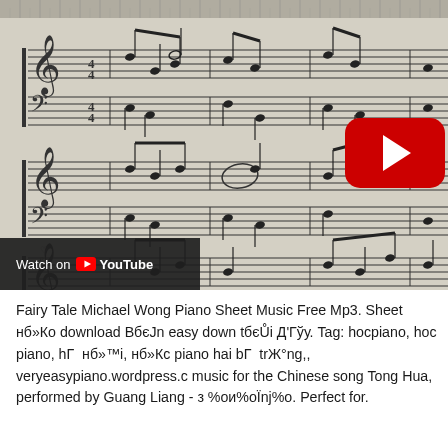[Figure (screenshot): YouTube video thumbnail showing piano sheet music for Fairy Tale by Michael Wong (Tong Hua), with a YouTube play button overlay in the center and a 'Watch on YouTube' bar at the bottom left.]
Fairy Tale Michael Wong Piano Sheet Music Free Mp3. Sheet нб»Ко download ВбєЈn easy down tбєŮi Д'Гўу. Tag: hocpiano, hoc piano, hГ  нб»™i, нб»Кс piano hai bГ  trЖ°ng,, veryeasypiano.wordpress.c music for the Chinese song Tong Hua, performed by Guang Liang - з %oи%oЇnj%o. Perfect for.